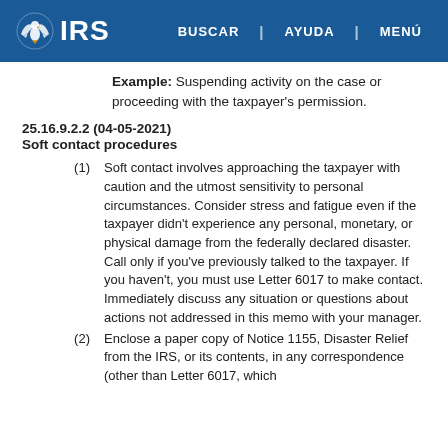IRS | BUSCAR | AYUDA | MENÚ
Example: Suspending activity on the case or proceeding with the taxpayer's permission.
25.16.9.2.2 (04-05-2021)
Soft contact procedures
(1) Soft contact involves approaching the taxpayer with caution and the utmost sensitivity to personal circumstances. Consider stress and fatigue even if the taxpayer didn't experience any personal, monetary, or physical damage from the federally declared disaster. Call only if you've previously talked to the taxpayer. If you haven't, you must use Letter 6017 to make contact. Immediately discuss any situation or questions about actions not addressed in this memo with your manager.
(2) Enclose a paper copy of Notice 1155, Disaster Relief from the IRS, or its contents, in any correspondence (other than Letter 6017, which